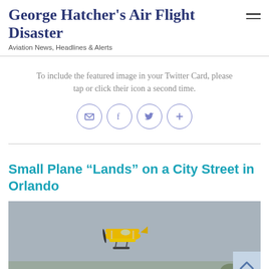George Hatcher's Air Flight Disaster
Aviation News, Headlines & Alerts
To include the featured image in your Twitter Card, please tap or click their icon a second time.
[Figure (infographic): Four circular social share icons: email, Facebook, Twitter, and plus (more)]
Small Plane “Lands” on a City Street in Orlando
[Figure (photo): A yellow biplane flying against a gray overcast sky with trees visible at the bottom edge]